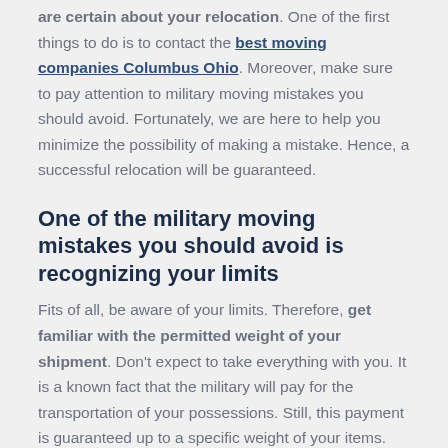are certain about your relocation. One of the first things to do is to contact the best moving companies Columbus Ohio. Moreover, make sure to pay attention to military moving mistakes you should avoid. Fortunately, we are here to help you minimize the possibility of making a mistake. Hence, a successful relocation will be guaranteed.
One of the military moving mistakes you should avoid is recognizing your limits
Fits of all, be aware of your limits. Therefore, get familiar with the permitted weight of your shipment. Don't expect to take everything with you. It is a known fact that the military will pay for the transportation of your possessions. Still, this payment is guaranteed up to a specific weight of your items. Also, the government will